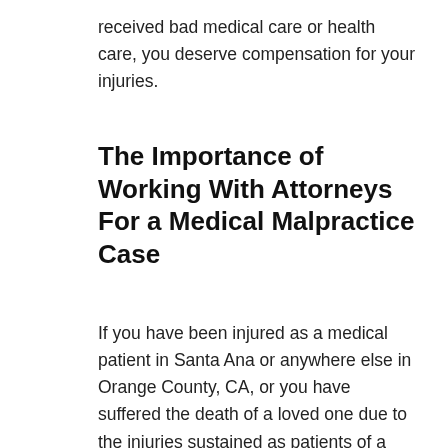received bad medical care or health care, you deserve compensation for your injuries.
The Importance of Working With Attorneys For a Medical Malpractice Case
If you have been injured as a medical patient in Santa Ana or anywhere else in Orange County, CA, or you have suffered the death of a loved one due to the injuries sustained as patients of a negligent doctor, working with experienced lawyers is one of the most important steps you can take in order to get the compensation you deserve. Insurance companies will work aggressively to reduce the liability that their clients take on, and will then fight to pay as little as possible to the injured person. This is the truth no matter how cut and dry the case may seem, and why